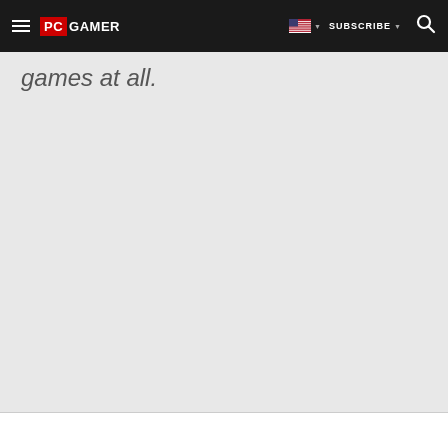PC GAMER | SUBSCRIBE
games at all.